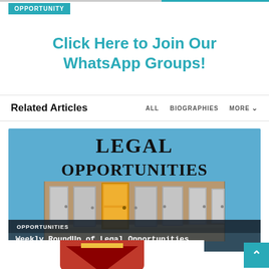OPPORTUNITY
Click Here to Join Our WhatsApp Groups!
Related Articles
ALL   BIOGRAPHIES   MORE
[Figure (photo): Legal Opportunities banner image showing multiple doors (grey and one yellow) in a corridor on a blue background with the large text 'LEGAL OPPORTUNITIES' above, and a dark overlay bar at the bottom with 'OPPORTUNITIES' tag and 'Weekly RoundUp of Legal Opportunities' caption]
Weekly RoundUp of Legal Opportunities